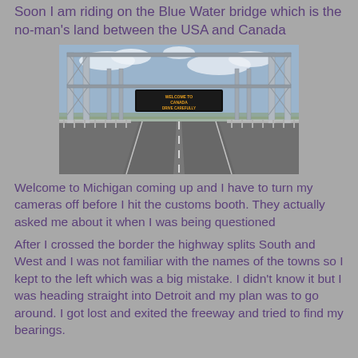Soon I am riding on the Blue Water bridge which is the no-man's land between the USA and Canada
[Figure (photo): View from a vehicle driving on the Blue Water Bridge, a steel truss bridge, with an electronic sign overhead reading 'WELCOME TO CANADA DRIVE CAREFULLY', blue sky with clouds visible above and flat landscape on either side.]
Welcome to Michigan coming up and I have to turn my cameras off before I hit the customs booth.  They actually asked me about it when I was being questioned
After I crossed the border the highway splits South and West and I was not familiar with the names of the towns so I kept to the left which was a big mistake.   I didn't know it but I was heading straight into Detroit and my plan was to go around.  I got lost and exited the freeway and tried to find my bearings.